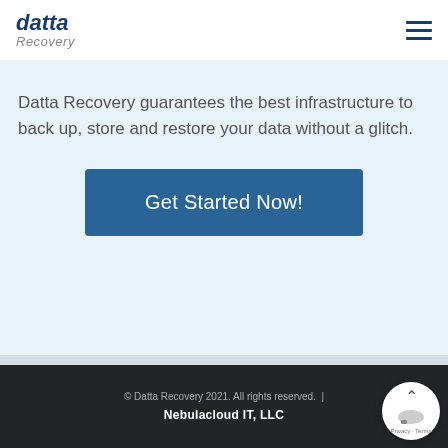[Figure (logo): Datta Recovery logo with italic bold 'datta' text in dark blue and 'Recovery' in gray below]
Datta Recovery guarantees the best infrastructure to back up, store and restore your data without a glitch.
Get Started Now!
© Datta Recovery 2021. All rights reserved. | Nebulacloud IT, LLC